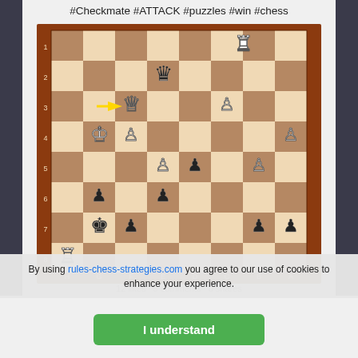#Checkmate #ATTACK #puzzles #win #chess
[Figure (illustration): Chess puzzle board showing a position with white queen on f3 (highlighted with yellow arrow), white king on g4, black queen on e2, white rook on c1, and various pawns. Board is labeled with coordinates H-A on bottom and 1-8 on left side.]
12 likes · 5 comments · 0 shares
By using rules-chess-strategies.com you agree to our use of cookies to enhance your experience.
I understand